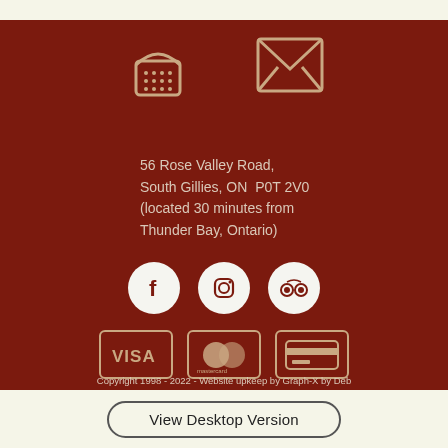[Figure (illustration): Telephone icon and envelope/mail icon side by side on dark red background]
56 Rose Valley Road,
South Gillies, ON  P0T 2V0
(located 30 minutes from
Thunder Bay, Ontario)
[Figure (illustration): Three social media icons in white circles: Facebook, Instagram, TripAdvisor]
[Figure (illustration): Three payment method icons: VISA, Mastercard, generic credit card]
Copyright 1998 - 2022 - Website upkeep by Graph-X by Deb
View Desktop Version